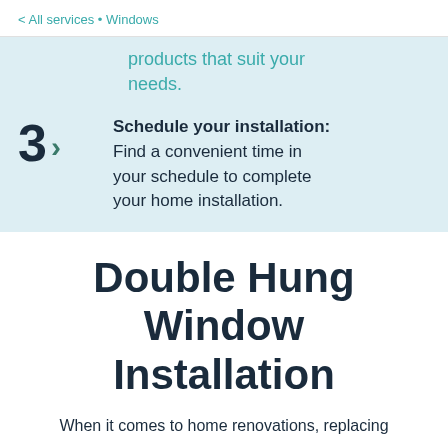< All services • Windows
products that suit your needs.
3 > Schedule your installation: Find a convenient time in your schedule to complete your home installation.
Double Hung Window Installation
When it comes to home renovations, replacing